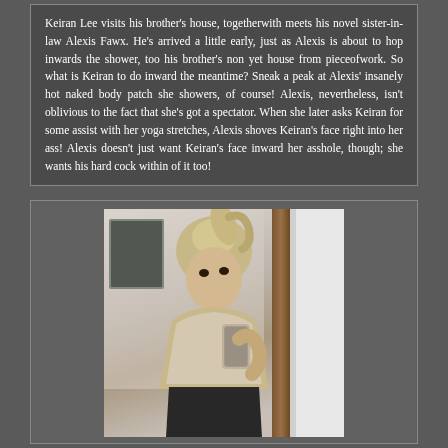Keiran Lee visits his brother's house, togetherwith meets his novel sister-in-law Alexis Fawx. He's arrived a little early, just as Alexis is about to hop inwards the shower, too his brother's non yet house from pieceofwork. So what is Keiran to do inward the meantime? Sneak a peak at Alexis' insanely hot naked body patch she showers, of course! Alexis, nevertheless, isn't oblivious to the fact that she's got a spectator. When she later asks Keiran for some assist with her yoga stretches, Alexis shoves Keiran's face right into her ass! Alexis doesn't just want Keiran's face inward her asshole, though; she wants his hard cock within of it too!
[Figure (photo): A young blonde woman with long wavy hair in a high ponytail taking a mirror selfie with a smartphone, wearing a light gray/beige tank top, in a bedroom setting with a wooden-framed mirror. Photo is in a slightly desaturated/sepia tone.]